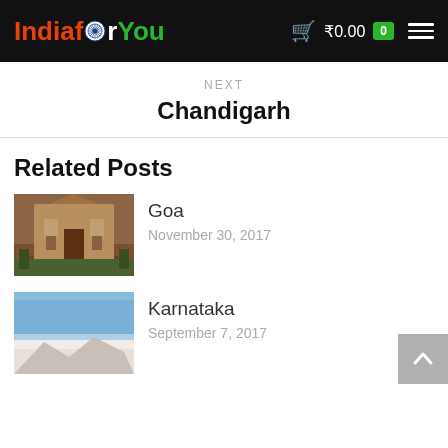IndiaforYou ₹0.00 0
NEXT
Chandigarh
Related Posts
[Figure (photo): Photo of a historic church building in Goa with ornate facade]
Goa
November 30, 2017
[Figure (photo): Photo showing a landscape scene in Karnataka with blue sky]
Karnataka
September 7, 2017